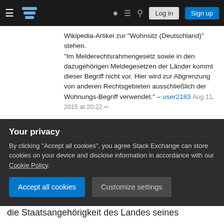Stack Exchange navigation bar with Log in and Sign up buttons
Wikipedia-Artikel zur "Wohnsitz (Deutschland)" stehen. "Im Melderechtsrahmengesetz sowie in den dazugehörigen Meldegesetzen der Länder kommt dieser Begriff nicht vor. Hier wird zur Abgrenzung von anderen Rechtsgebieten ausschließlich der Wohnungs-Begriff verwendet." – user2183 Aug 11, 2015 at 20:22
Add a comment
Der Wohnort, wohnhaft, die Wohnadresse, und das Domizil einer Person sind geografische Ortsbestimmungen des Wohnsitzes. Der Wohnsitz
Your privacy
By clicking "Accept all cookies", you agree Stack Exchange can store cookies on your device and disclose information in accordance with our Cookie Policy.
Accept all cookies
Customize settings
die Staatsangehörigkeit des Landes seines